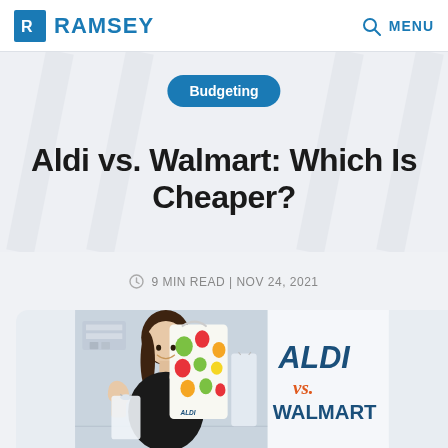RAMSEY  MENU
Budgeting
Aldi vs. Walmart: Which Is Cheaper?
9 MIN READ | NOV 24, 2021
[Figure (photo): Woman smiling and holding grocery bags with colorful produce print, alongside text overlay reading ALDI vs. WALMART in bold dark blue and orange italic lettering.]